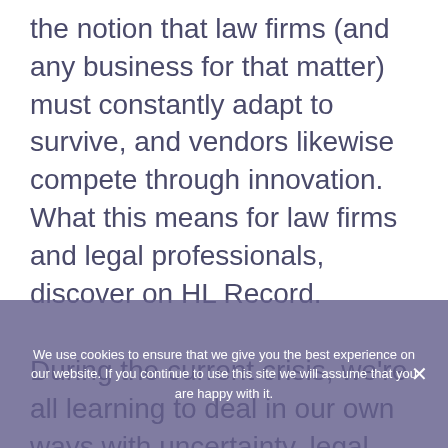the notion that law firms (and any business for that matter) must constantly adapt to survive, and vendors likewise compete through innovation. What this means for law firms and legal professionals, discover on HL Record.
During the current crisis, we're all learning to deal in our own ways with uncertainty, legal tech news note. Dealing with uncertainty effectively is a skill especially worth perfecting for lawyers. And it is especially critical for in-house lawyers, whose decisions have a direct impact on business and their ability to weather
We use cookies to ensure that we give you the best experience on our website. If you continue to use this site we will assume that you are happy with it.